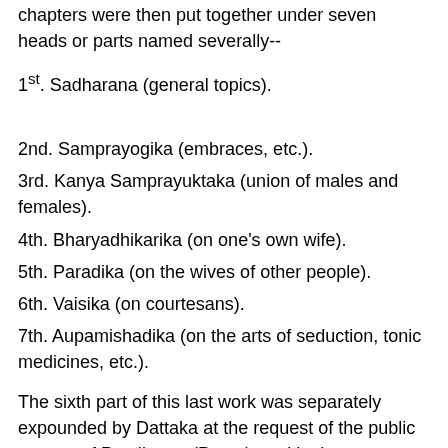chapters were then put together under seven heads or parts named severally--
1st. Sadharana (general topics).
2nd. Samprayogika (embraces, etc.).
3rd. Kanya Samprayuktaka (union of males and females).
4th. Bharyadhikarika (on one's own wife).
5th. Paradika (on the wives of other people).
6th. Vaisika (on courtesans).
7th. Aupamishadika (on the arts of seduction, tonic medicines, etc.).
The sixth part of this last work was separately expounded by Dattaka at the request of the public women of Pataliputra (Patna), and in the same way Charayana explained the first part of it. The remaining parts, viz., the